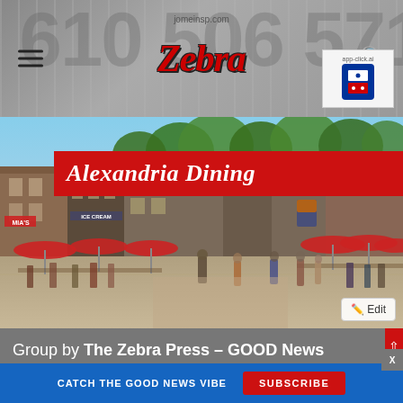Zebra — zebra logo with hamburger menu and search icon
[Figure (photo): Street scene photo of Alexandria dining area with red umbrellas, pedestrians, storefronts including MIA'S and ICE CREAM, overlaid with red banner reading 'Alexandria Dining']
Group by The Zebra Press - GOOD News in Alexandria, VA
Alexandria Din...
CATCH THE GOOD NEWS VIBE   SUBSCRIBE